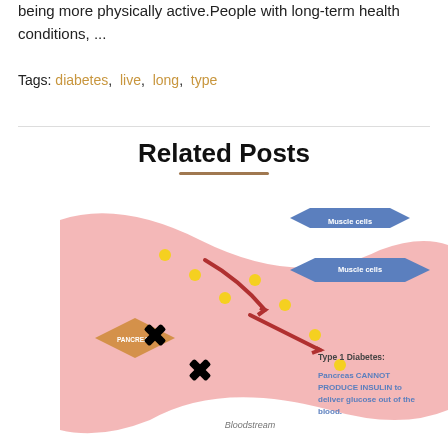being more physically active. People with long-term health conditions, ...
Tags: diabetes, live, long, type
Related Posts
[Figure (infographic): Medical diagram showing Type 1 Diabetes: Pancreas CANNOT PRODUCE INSULIN to deliver glucose out of the blood. Shows pancreas (orange diamond), bloodstream (pink wave), muscle cells (blue hexagons), yellow glucose dots, red arrows, and black X marks indicating blocked insulin production.]